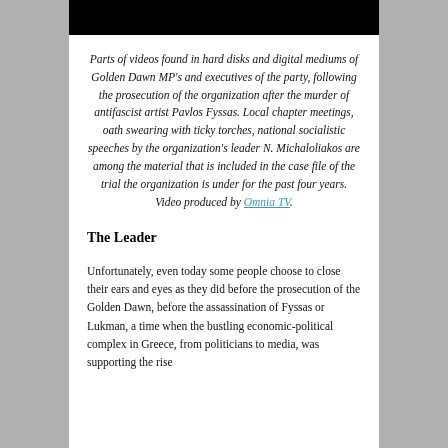[Figure (photo): Black bar at the top of the page, likely representing a cropped video thumbnail.]
Parts of videos found in hard disks and digital mediums of Golden Dawn MP's and executives of the party, following the prosecution of the organization after the murder of antifascist artist Pavlos Fyssas. Local chapter meetings, oath swearing with ticky torches, national socialistic speeches by the organization's leader N. Michaloliakos are among the material that is included in the case file of the trial the organization is under for the past four years. Video produced by Omnia TV.
The Leader
Unfortunately, even today some people choose to close their ears and eyes as they did before the prosecution of the Golden Dawn, before the assassination of Fyssas or Lukman, a time when the bustling economic-political complex in Greece, from politicians to media, was supporting the rise